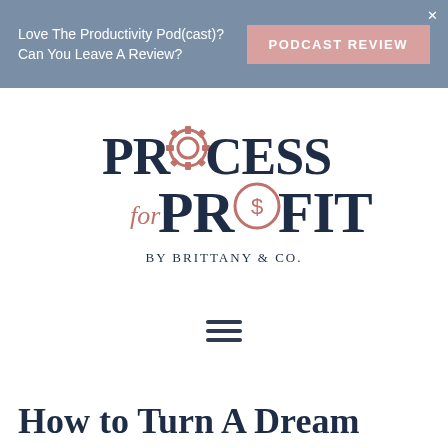Love The Productivity Pod(cast)? Can You Leave A Review? | PODCAST REVIEW
[Figure (logo): Process for Profit by Brittany & Co. logo — dark navy serif text with a gear icon replacing the O in PROCESS and a dollar-sign circle replacing the O in PROFIT, with script 'for' in rose/pink]
[Figure (other): Hamburger menu icon — three horizontal dark navy lines]
How to Turn A Dream